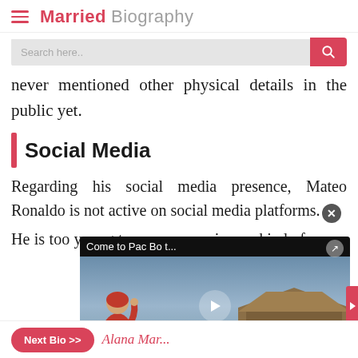Married Biography
never mentioned other physical details in the public yet.
Social Media
Regarding his social media presence, Mateo Ronaldo is not active on social media platforms.
He is too young to [be] in any kind of so[cial media and does] not have any offi[cial account].
[Figure (screenshot): Embedded video overlay with title 'Come to Pac Bo t...' showing a monk figure near a temple roof, with a play button in the center]
Next Bio >> Alana Mar[tin]